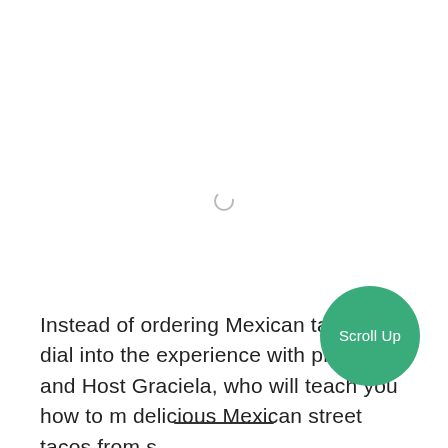[Figure (other): A loading spinner arc (partial circle) in light gray, centered near the top portion of the page]
Instead of ordering Mexican takeout, dial into the experience with pro chef and Host Graciela, who will teach you how to m delicious Mexican street tacos from s
[Figure (other): Green circular 'Scroll Up' button overlapping the text block on the right side]